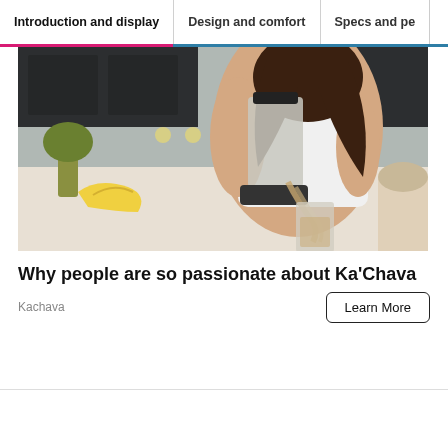Introduction and display | Design and comfort | Specs and pe
[Figure (photo): Woman in a kitchen pouring a smoothie from a blender into a glass jar, with bananas and produce visible in the background.]
Why people are so passionate about Ka'Chava
Kachava
Learn More